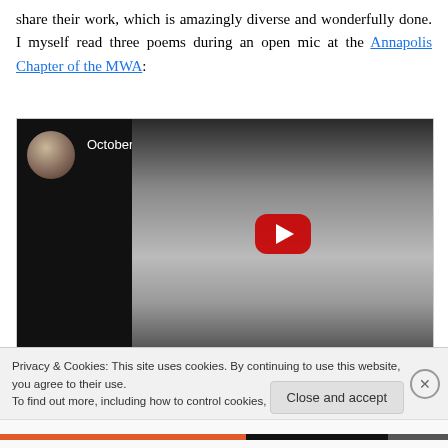share their work, which is amazingly diverse and wonderfully done. I myself read three poems during an open mic at the Annapolis Chapter of the MWA:
[Figure (screenshot): YouTube video embed showing 'October 18th Open Mic Reading' with a man standing at a podium, with a red YouTube play button overlay]
Privacy & Cookies: This site uses cookies. By continuing to use this website, you agree to their use.
To find out more, including how to control cookies, see here: Cookie Policy
Close and accept